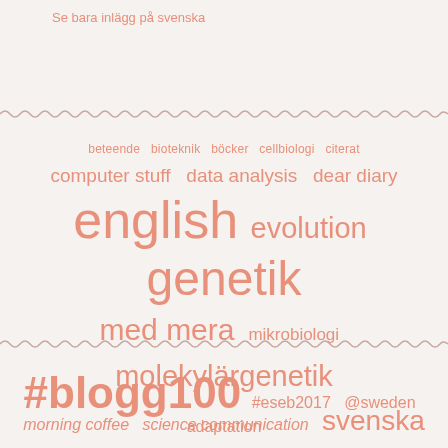Se bara inlägg på svenska
[Figure (illustration): Wavy decorative line separator (top)]
[Figure (infographic): Tag cloud with Swedish and English blog category tags in salmon/coral color on light background. Tags include: beteende, bioteknik, böcker, cellbiologi, citerat, computer stuff, data analysis, dear diary, english, evolution, genetik, med mera, mikrobiologi, molekylärgenetik, morning coffee, science communication, svenska, så kallad humor, the practice of science, zoologi]
[Figure (illustration): Wavy decorative line separator (bottom)]
#blogg100 #eseb2017 @sweden adaptation